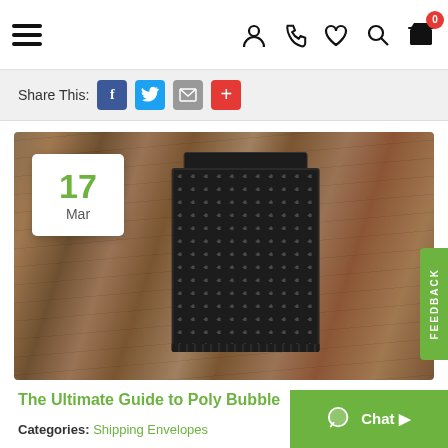Navigation header with hamburger menu and icons: user, phone, heart, search, cart (0)
Share This:
[Figure (photo): Black poly bubble mailer envelope lying on a wood grain surface. Date badge in top-left corner shows '17 Mar' in green and grey text on white background.]
The Ultimate Guide to Poly Bubble
Categories: Shipping Envelopes